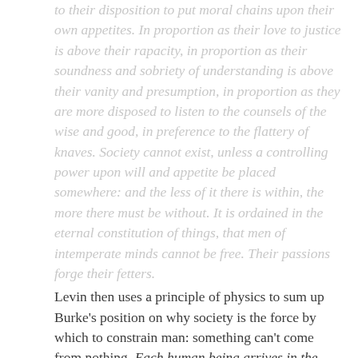to their disposition to put moral chains upon their own appetites. In proportion as their love to justice is above their rapacity, in proportion as their soundness and sobriety of understanding is above their vanity and presumption, in proportion as they are more disposed to listen to the counsels of the wise and good, in preference to the flattery of knaves. Society cannot exist, unless a controlling power upon will and appetite be placed somewhere: and the less of it there is within, the more there must be without. It is ordained in the eternal constitution of things, that men of intemperate minds cannot be free. Their passions forge their fetters.
Levin then uses a principle of physics to sum up Burke's position on why society is the force by which to constrain man: something can't come from nothing. Each human being arrives in the world as a new member of an old order, and far from a constraint